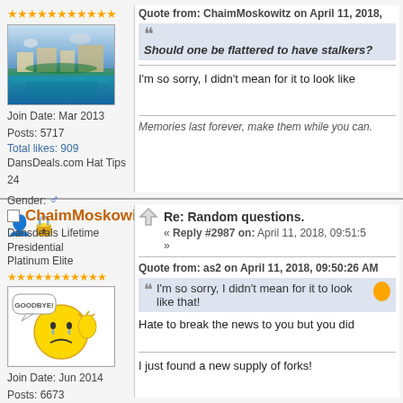[Figure (screenshot): Forum post sidebar with star rating, resort photo avatar, join date Mar 2013, Posts 5717, Total likes 909, Hat Tips 24, Gender male, user icon]
Quote from: ChaimMoskowitz on April 11, 2018,
Should one be flattered to have stalkers?
I'm so sorry, I didn't mean for it to look like
Memories last forever, make them while you can.
ChaimMoskowitz
Dansdeals Lifetime Presidential Platinum Elite
Re: Random questions.
« Reply #2987 on: April 11, 2018, 09:51:5
Quote from: as2 on April 11, 2018, 09:50:26 AM
I'm so sorry, I didn't mean for it to look like that!
Hate to break the news to you but you did
I just found a new supply of forks!
Join Date: Jun 2014
Posts: 6673
Total likes: 1091
DansDeals.com Hat Tips 1